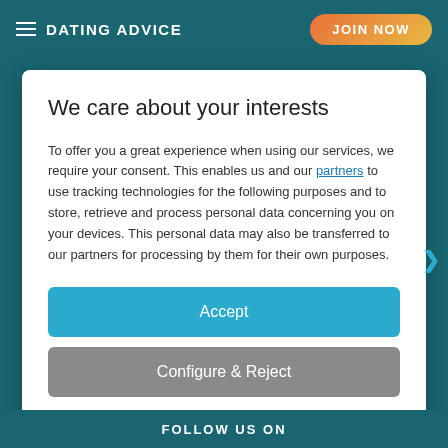DATING ADVICE | JOIN NOW
We care about your interests
To offer you a great experience when using our services, we require your consent. This enables us and our partners to use tracking technologies for the following purposes and to store, retrieve and process personal data concerning you on your devices. This personal data may also be transferred to our partners for processing by them for their own purposes.
Accept
Configure & Reject
About us | Privacy Policy | Cookies & Tracking
FOLLOW US ON